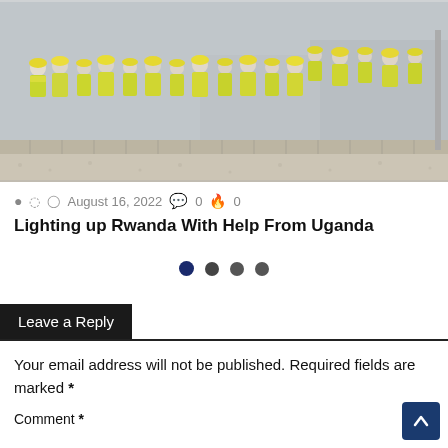[Figure (photo): A group of people wearing yellow safety vests and hard hats standing at a construction or outdoor site, with a stone border and gravel ground in the foreground. The image is partially cropped at the top.]
August 16, 2022  0  0
Lighting up Rwanda With Help From Uganda
[Figure (other): Pagination dots: one filled dark blue dot followed by three dark gray dots]
Leave a Reply
Your email address will not be published. Required fields are marked *
Comment *